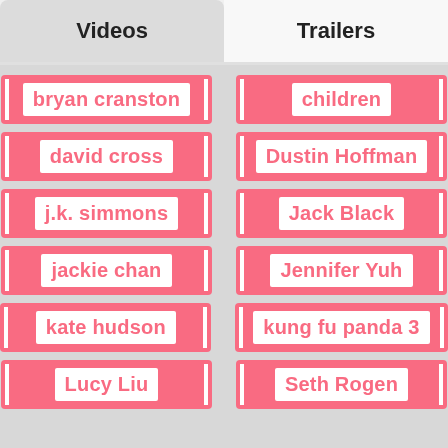Videos
Trailers
bryan cranston
children
david cross
Dustin Hoffman
j.k. simmons
Jack Black
jackie chan
Jennifer Yuh
kate hudson
kung fu panda 3
Lucy Liu
Seth Rogen